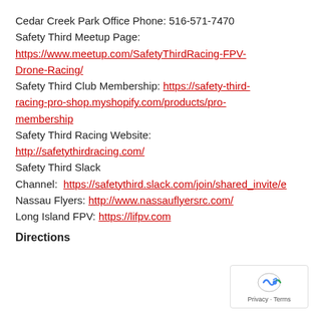Cedar Creek Park Office Phone: 516-571-7470
Safety Third Meetup Page:
https://www.meetup.com/SafetyThirdRacing-FPV-Drone-Racing/
Safety Third Club Membership: https://safety-third-racing-pro-shop.myshopify.com/products/pro-membership
Safety Third Racing Website:
http://safetythirdracing.com/
Safety Third Slack
Channel:  https://safetythird.slack.com/join/shared_invite/e
Nassau Flyers: http://www.nassauflyersrc.com/
Long Island FPV: https://lifpv.com
Directions